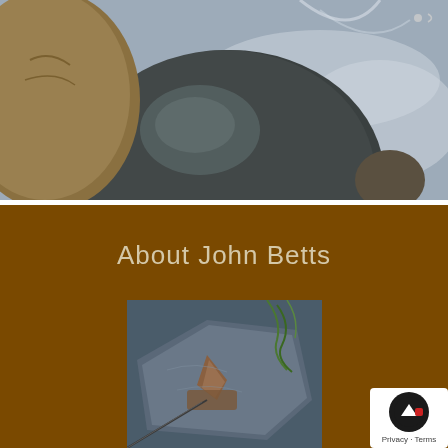[Figure (photo): Close-up photo of wet river rocks with blurred flowing water in the background. Dark grey/green smooth stones in foreground, motion-blurred water visible behind them.]
About John Betts
[Figure (photo): Photo of a rock specimen or geological sample on a dark background with green plant material visible. Appears to show minerals or crystal formations on a flat stone surface.]